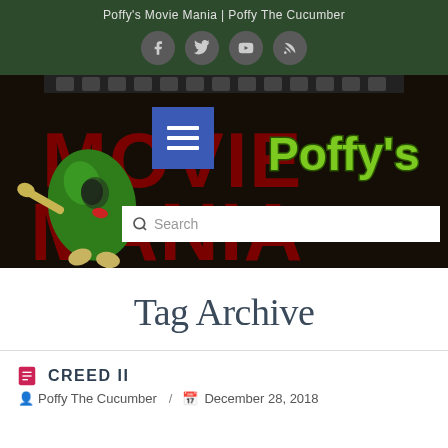Poffy's Movie Mania | Poffy The Cucumber
[Figure (screenshot): Website banner/header for Poffy's Movie Mania with green cucumber mascot, red MOVIE MANIA text, Poffy's logo in green, a blue hamburger menu button overlay, and a search bar overlay on a dark background.]
Tag Archive
CREED II
Poffy The Cucumber / December 28, 2018